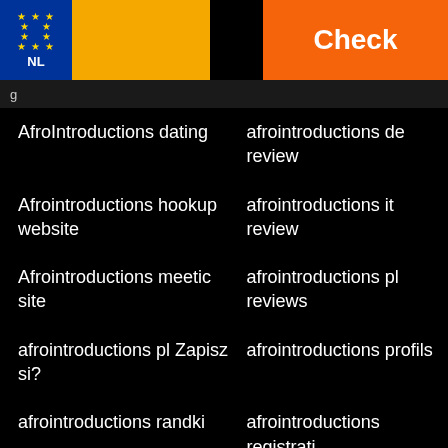[Figure (logo): EU NL flag with yellow bar and orange Check button header]
g
AfroIntroductions dating
afrointroductions de review
Afrointroductions hookup website
afrointroductions it review
Afrointroductions meetic site
afrointroductions pl reviews
afrointroductions pl Zapisz si?
afrointroductions profils
afrointroductions randki
afrointroductions registrati